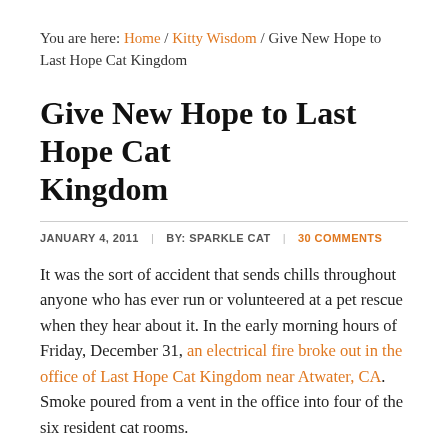You are here: Home / Kitty Wisdom / Give New Hope to Last Hope Cat Kingdom
Give New Hope to Last Hope Cat Kingdom
JANUARY 4, 2011 | BY: SPARKLE CAT | 30 COMMENTS
It was the sort of accident that sends chills throughout anyone who has ever run or volunteered at a pet rescue when they hear about it. In the early morning hours of Friday, December 31, an electrical fire broke out in the office of Last Hope Cat Kingdom near Atwater, CA. Smoke poured from a vent in the office into four of the six resident cat rooms.